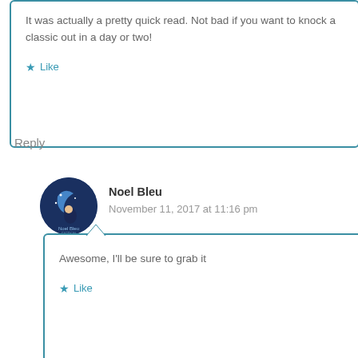It was actually a pretty quick read. Not bad if you want to knock a classic out in a day or two!
Like
Reply
Noel Bleu
November 11, 2017 at 11:16 pm
Awesome, I'll be sure to grab it
Like